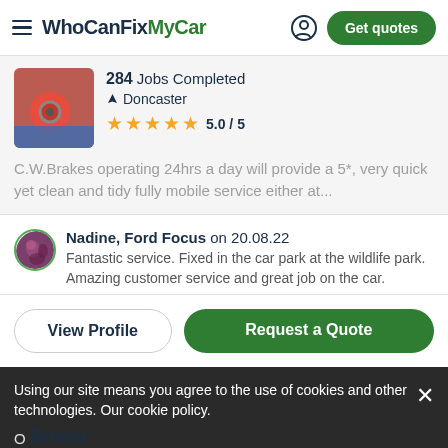WhoCanFixMyCar — Get quotes
284 Jobs Completed
Doncaster
5.0 / 5
C.W.Brakes operating 24hrs a day will provide a 5*, very quick yet clean and tidy fully mobile service either at...
Nadine, Ford Focus on 20.08.22
Fantastic service. Fixed in the car park at the wildlife park. Amazing customer service and great job on the car.
View Profile
Request a Quote
Using our site means you agree to the use of cookies and other technologies. Our cookie policy.